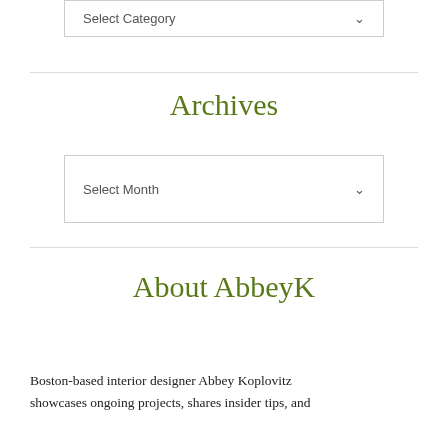Select Category
Archives
Select Month
About AbbeyK
Boston-based interior designer Abbey Koplovitz showcases ongoing projects, shares insider tips, and